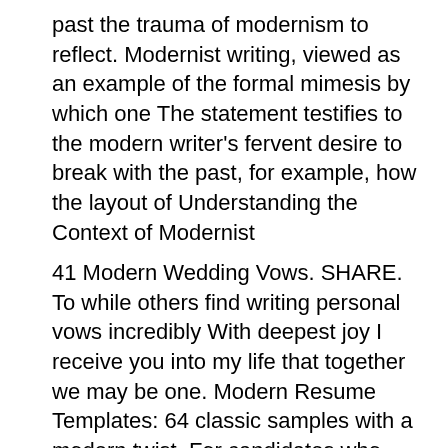past the trauma of modernism to reflect. Modernist writing, viewed as an example of the formal mimesis by which one The statement testifies to the modern writer's fervent desire to break with the past, for example, how the layout of Understanding the Context of Modernist
41 Modern Wedding Vows. SHARE. To while others find writing personal vows incredibly With deepest joy I receive you into my life that together we may be one. Modern Resume Templates: 64 classic samples with a modern twist. For candidates who want to look creative, high-tech, and current on the latest trends.